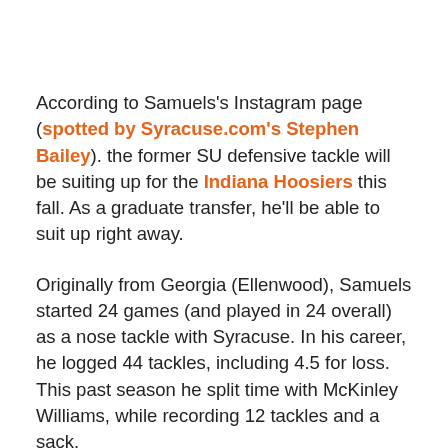According to Samuels's Instagram page (spotted by Syracuse.com's Stephen Bailey). the former SU defensive tackle will be suiting up for the Indiana Hoosiers this fall. As a graduate transfer, he'll be able to suit up right away.
Originally from Georgia (Ellenwood), Samuels started 24 games (and played in 24 overall) as a nose tackle with Syracuse. In his career, he logged 44 tackles, including 4.5 for loss. This past season he split time with McKinley Williams, while recording 12 tackles and a sack.
As part of the class of 2014, Samuels was a 2- or 3-